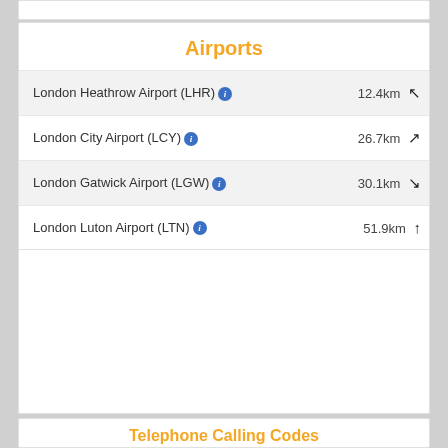Airports
| Airport | Distance |
| --- | --- |
| London Heathrow Airport (LHR) | 12.4km ↖ |
| London City Airport (LCY) | 26.7km ↗ |
| London Gatwick Airport (LGW) | 30.1km ↘ |
| London Luton Airport (LTN) | 51.9km ↑ |
Telephone Calling Codes